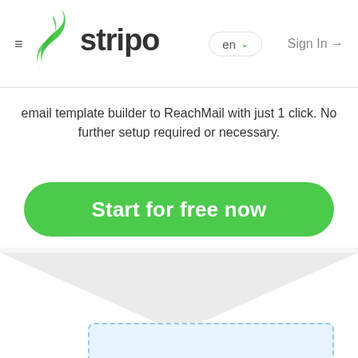≡ stripo   en ∨   Sign In →
email template builder to ReachMail with just 1 click. No further setup required or necessary.
Start for free now
[Figure (illustration): Envelope shape graphic with triangular flap pointing downward, light gray on gray background, with a dashed light-blue rectangle at the bottom representing an email editor area.]